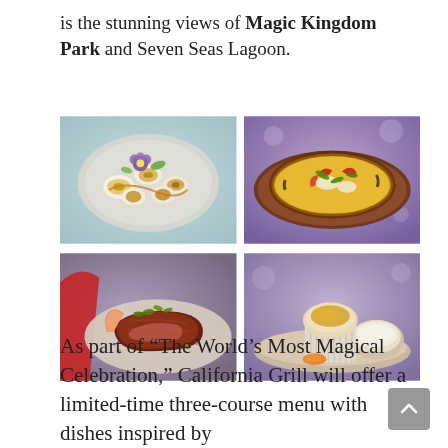is the stunning views of Magic Kingdom Park and Seven Seas Lagoon.
[Figure (photo): Four food photos in a 2x2 grid: top-left shows sushi rolls on a plate with a purple flower garnish; top-right shows a flatbread pizza with vegetables on a wooden board; bottom-left shows a steak with shrimp and microgreens on a plate; bottom-right shows a soufflé in a white ramekin with a bowl of cream and orange garnish on a tray.]
As part of “The World’s Most Magical Celebration,” California Grill will offer a limited-time three-course menu with dishes inspired by